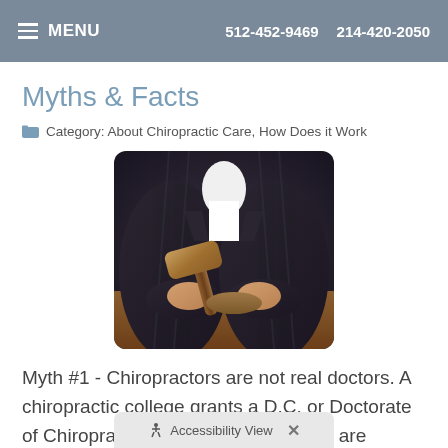≡ MENU   512-452-9469   214-420-2050
Myths & Facts
Category: About Chiropractic Care, How Does it Work
[Figure (photo): Person in dark business jacket holding a gavel over a sound block on a wooden desk, headless photo showing torso and hands only]
Myth #1 - Chiropractors are not real doctors. A chiropractic college grants a D.C. or Doctorate of Chiropractic degree. Chiropractors are licensed as health care providers in every U.S. state and dozens of countries around the world. While the competition for acceptance in chiropractic school is not
Accessibility View  ×